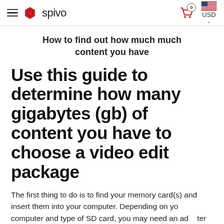spivo — 0 USD
How to find out how much much content you have
Use this guide to determine how many gigabytes (gb) of content you have to choose a video edit package
The first thing to do is to find your memory card(s) and insert them into your computer. Depending on your computer and type of SD card, you may need an adapter to do this. Once inserted, navigate to the device and find the